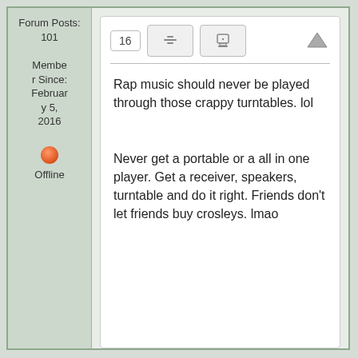Forum Posts: 101
Member Since: February 5, 2016
Offline
16
Rap music should never be played through those crappy turntables. lol
Never get a portable or a all in one player. Get a receiver, speakers, turntable and do it right. Friends don't let friends buy crosleys. lmao